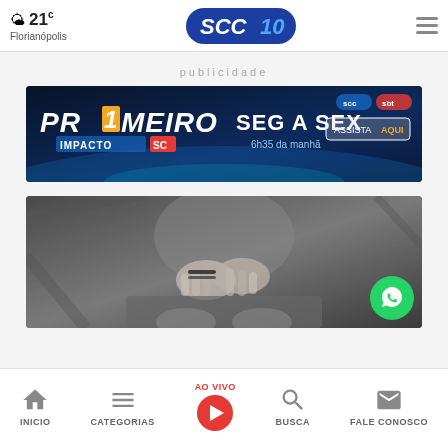21°C Florianópolis | SCC10 | Menu
publicidade
[Figure (photo): Advertisement banner for 'Primeiro Impacto SC' TV show on SCC/SBT, dark blue background with globe imagery, text: PRIMEIRO IMPACTO SC, SEG A SEX, 6h35 da manhã, ASSISTA AQUI]
[Figure (photo): Black and white photo of a person's hands clasped together around their waist/clothing area]
INICIO | CATEGORIAS | AO VIVO | BUSCA | FALE CONOSCO